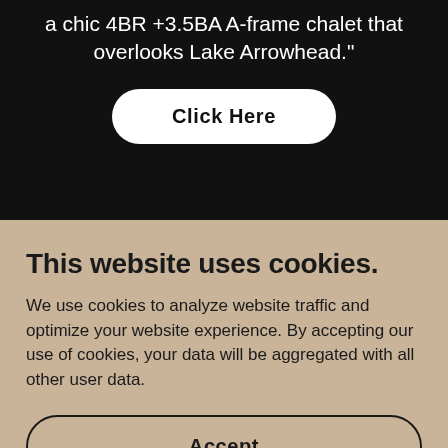a chic 4BR +3.5BA A-frame chalet that overlooks Lake Arrowhead."
Click Here
This website uses cookies.
We use cookies to analyze website traffic and optimize your website experience. By accepting our use of cookies, your data will be aggregated with all other user data.
Accept